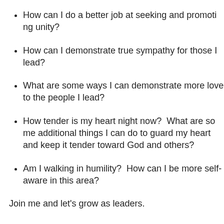How can I do a better job at seeking and promoting unity?
How can I demonstrate true sympathy for those I lead?
What are some ways I can demonstrate more love to the people I lead?
How tender is my heart night now?  What are some additional things I can do to guard my heart and keep it tender toward God and others?
Am I walking in humility?  How can I be more self-aware in this area?
Join me and let's grow as leaders.